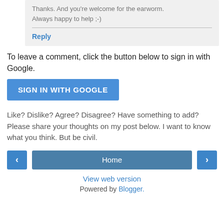Thanks. And you're welcome for the earworm. Always happy to help ;-)
Reply
To leave a comment, click the button below to sign in with Google.
SIGN IN WITH GOOGLE
Like? Dislike? Agree? Disagree? Have something to add? Please share your thoughts on my post below. I want to know what you think. But be civil.
< Home >
View web version
Powered by Blogger.